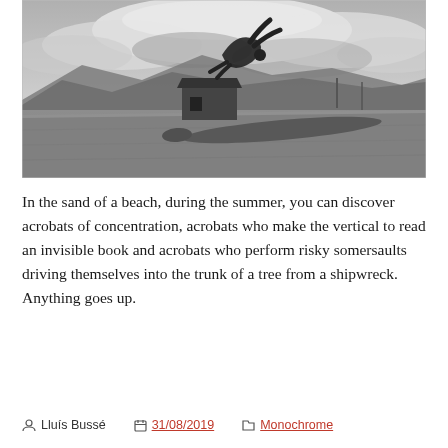[Figure (photo): Black and white photograph of a person performing an acrobatic flip/somersault on a sandy beach near a driftwood log, with a shack/structure and mountains visible in the background under a cloudy sky.]
In the sand of a beach, during the summer, you can discover acrobats of concentration, acrobats who make the vertical to read an invisible book and acrobats who perform risky somersaults driving themselves into the trunk of a tree from a shipwreck. Anything goes up.
Lluís Bussé   31/08/2019   Monochrome